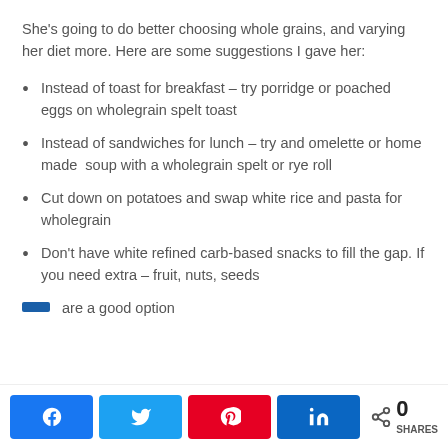She's going to do better choosing whole grains, and varying her diet more. Here are some suggestions I gave her:
Instead of toast for breakfast – try porridge or poached eggs on wholegrain spelt toast
Instead of sandwiches for lunch – try and omelette or home made  soup with a wholegrain spelt or rye roll
Cut down on potatoes and swap white rice and pasta for wholegrain
Don't have white refined carb-based snacks to fill the gap. If you need extra – fruit, nuts, seeds are a good option